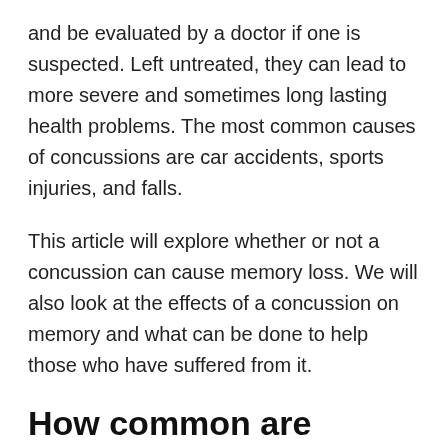and be evaluated by a doctor if one is suspected. Left untreated, they can lead to more severe and sometimes long lasting health problems. The most common causes of concussions are car accidents, sports injuries, and falls.
This article will explore whether or not a concussion can cause memory loss. We will also look at the effects of a concussion on memory and what can be done to help those who have suffered from it.
How common are concussions?